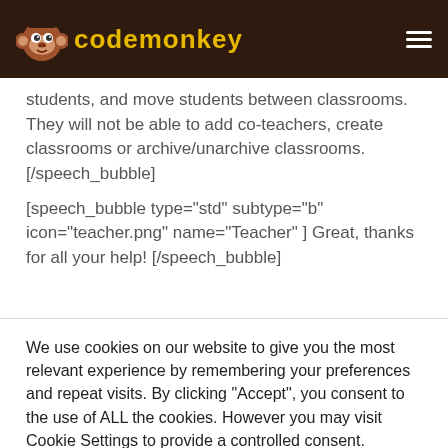CodeMonkey
students, and move students between classrooms. They will not be able to add co-teachers, create classrooms or archive/unarchive classrooms.[/speech_bubble]
[speech_bubble type="std" subtype="b" icon="teacher.png" name="Teacher" ] Great, thanks for all your help! [/speech_bubble]
We use cookies on our website to give you the most relevant experience by remembering your preferences and repeat visits. By clicking “Accept”, you consent to the use of ALL the cookies. However you may visit Cookie Settings to provide a controlled consent.
Cookie settings | ACCEPT